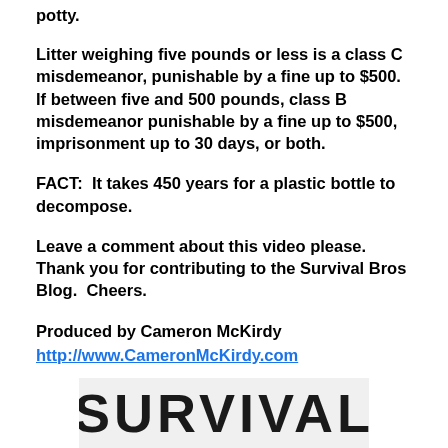potty.
Litter weighing five pounds or less is a class C misdemeanor, punishable by a fine up to $500. If between five and 500 pounds, class B misdemeanor punishable by a fine up to $500, imprisonment up to 30 days, or both.
FACT:  It takes 450 years for a plastic bottle to decompose.
Leave a comment about this video please.  Thank you for contributing to the Survival Bros Blog.  Cheers.
Produced by Cameron McKirdy
http://www.CameronMcKirdy.com
[Figure (logo): Survival Bros logo — large bold black text on light gray background, partially cropped at bottom of page]